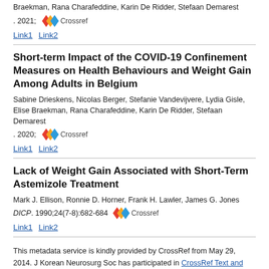Braekman, Rana Charafeddine, Karin De Ridder, Stefaan Demarest
. 2021;
Link1 Link2
Short-term Impact of the COVID-19 Confinement Measures on Health Behaviours and Weight Gain Among Adults in Belgium
Sabine Drieskens, Nicolas Berger, Stefanie Vandevijvere, Lydia Gisle, Elise Braekman, Rana Charafeddine, Karin De Ridder, Stefaan Demarest
. 2020;
Link1 Link2
Lack of Weight Gain Associated with Short-Term Astemizole Treatment
Mark J. Ellison, Ronnie D. Horner, Frank H. Lawler, James G. Jones
DICP. 1990;24(7-8):682-684
Link1 Link2
This metadata service is kindly provided by CrossRef from May 29, 2014. J Korean Neurosurg Soc has participated in CrossRef Text and Data Mining service since March 1, 2015.